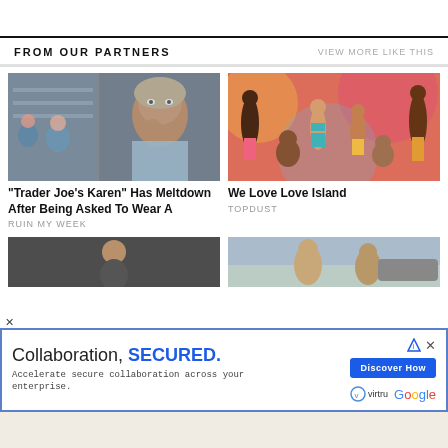FROM OUR PARTNERS   VIEW MORE LIKE THIS
[Figure (photo): Photo split: woman looking up with hand gesture in store / store scene]
"Trader Joe's Karen" Has Meltdown After Being Asked To Wear A
RUIN MY WEEK
[Figure (photo): Group of attractive people in swimwear on colorful background - Love Island cast]
We Love Love Island
TOPDUST
[Figure (photo): Young man on dark background (partially visible)]
[Figure (photo): Women outdoors near a car (partially visible)]
[Figure (infographic): Ad: Collaboration, SECURED. - Virtru & Google partnership ad with Discover How button]